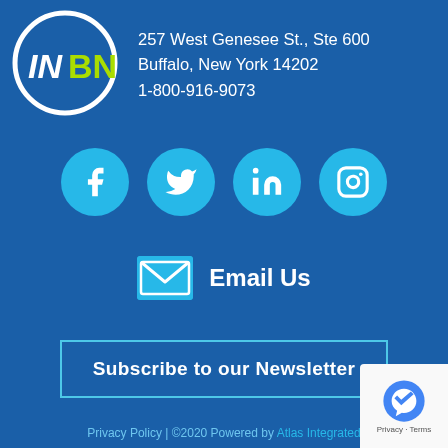[Figure (logo): INBN logo: white circle outline with 'IN' in white and 'BN' in yellow-green, on blue background]
257 West Genesee St., Ste 600
Buffalo, New York 14202
1-800-916-9073
[Figure (infographic): Four social media icons in teal circles: Facebook (f), Twitter (bird), LinkedIn (in), Instagram (camera outline)]
[Figure (infographic): Teal envelope icon with 'Email Us' text in white bold]
Subscribe to our Newsletter
Privacy Policy | ©2020 Powered by Atlas Integrated